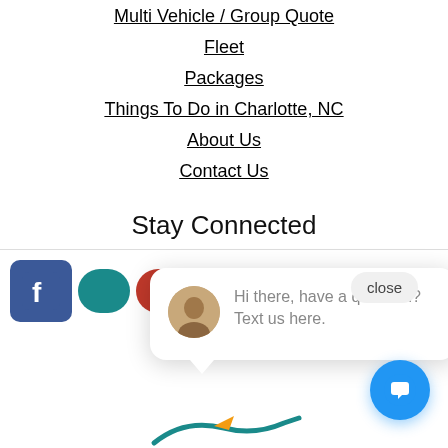Multi Vehicle / Group Quote
Fleet
Packages
Things To Do in Charlotte, NC
About Us
Contact Us
Stay Connected
[Figure (screenshot): Social media icons row: Facebook, and several colored pill-shaped icons for other social platforms]
[Figure (screenshot): Chat popup bubble with avatar and text: Hi there, have a question? Text us here. Close button visible.]
[Figure (screenshot): Blue circular chat FAB button with speech bubble icon, bottom right corner]
[Figure (screenshot): Partial footer logo, teal/orange bird or swoosh shape, bottom center, partially visible]